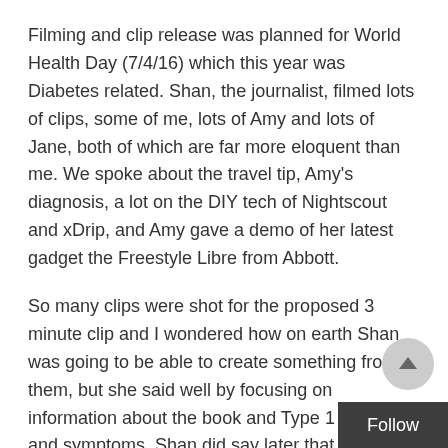Filming and clip release was planned for World Health Day (7/4/16) which this year was Diabetes related. Shan, the journalist, filmed lots of clips, some of me, lots of Amy and lots of Jane, both of which are far more eloquent than me. We spoke about the travel tip, Amy's diagnosis, a lot on the DIY tech of Nightscout and xDrip, and Amy gave a demo of her latest gadget the Freestyle Libre from Abbott.
So many clips were shot for the proposed 3 minute clip and I wondered how on earth Shan was going to be able to create something from them, but she said well by focusing on information about the book and Type 1 diagnosis and symptoms. Shan did say later that she hopes to do a second clip featuring all the DIY/medical technology we spoke about. I was really happy with Shan's accuracy of information given all the bad press journalists get – due to Daily Mail articles, etc., so well done Shan.